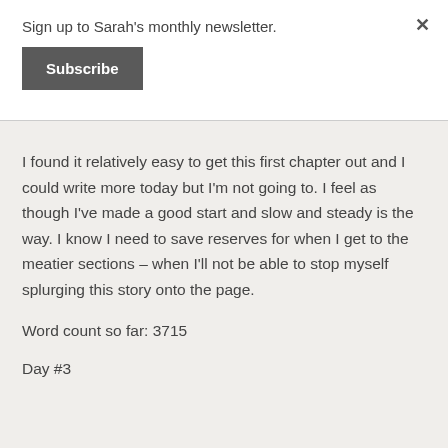Sign up to Sarah's monthly newsletter.
Subscribe
I found it relatively easy to get this first chapter out and I could write more today but I'm not going to. I feel as though I've made a good start and slow and steady is the way. I know I need to save reserves for when I get to the meatier sections – when I'll not be able to stop myself splurging this story onto the page.
Word count so far: 3715
Day #3